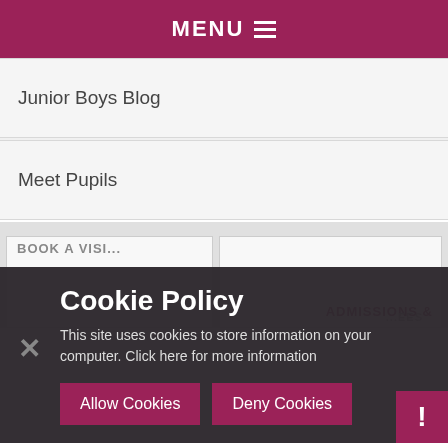MENU
Junior Boys Blog
Meet Pupils
ADMISSIONS &
Cookie Policy
This site uses cookies to store information on your computer. Click here for more information
Allow Cookies
Deny Cookies